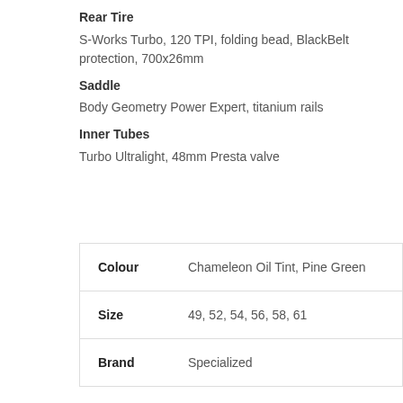Rear Tire
S-Works Turbo, 120 TPI, folding bead, BlackBelt protection, 700x26mm
Saddle
Body Geometry Power Expert, titanium rails
Inner Tubes
Turbo Ultralight, 48mm Presta valve
| Colour | Chameleon Oil Tint, Pine Green |
| --- | --- |
| Size | 49, 52, 54, 56, 58, 61 |
| Brand | Specialized |